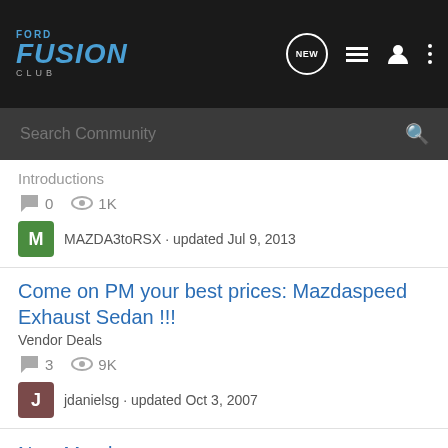[Figure (logo): Ford Fusion Club logo with navigation icons: NEW speech bubble, list icon, user icon, three dots menu on dark header bar]
[Figure (screenshot): Search Community search bar on dark grey background]
Introductions
0  1K
MAZDA3toRSX · updated Jul 9, 2013
Come on PM your best prices: Mazdaspeed Exhaust Sedan !!!
Vendor Deals
3  9K
jdanielsg · updated Oct 3, 2007
New Member
Introductions